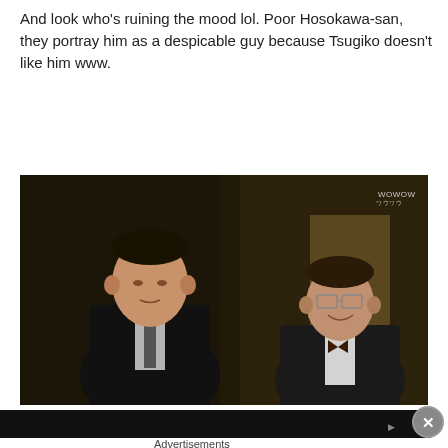And look who's ruining the mood lol. Poor Hosokawa-san, they portray him as a despicable guy because Tsugiko doesn't like him www.
[Figure (photo): Dark scene from a Japanese TV drama or film showing two men in dark suits standing in a dimly lit room. The man on the left is taller and facing forward, the man on the right is smiling and wearing glasses. A watermark reading 'WOWOW' is in the top right corner.]
[Figure (screenshot): Partially visible dark video player bar at the bottom of the screen.]
Advertisements
[Figure (other): WordPress Hosting advertisement banner with navy blue background showing 'P' parking/Pressable logo, text 'WORDPRESS HOSTING THAT MEANS BUSINESS.' and an image of an OPEN sign on the right.]